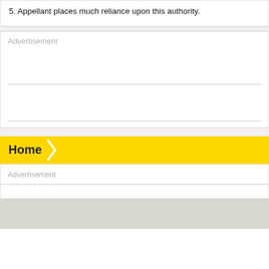5. Appellant places much reliance upon this authority.
Advertisement
Home
Advertisement